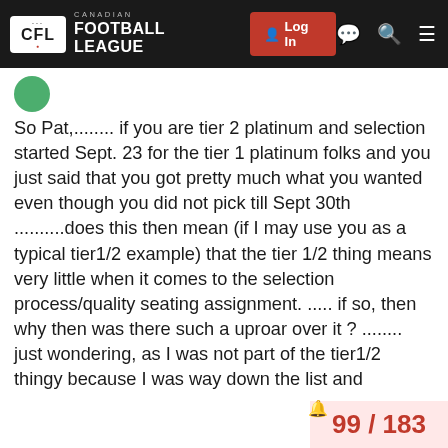CFL CANADIAN FOOTBALL LEAGUE | Log In
So Pat,........ if you are tier 2 platinum and selection started Sept. 23 for the tier 1 platinum folks and you just said that you got pretty much what you wanted even though you did not pick till Sept 30th ..........does this then mean (if I may use you as a typical tier1/2 example) that the tier 1/2 thing means very little when it comes to the selection process/quality seating assignment. ..... if so, then why then was there such a uproar over it ? ........ just wondering, as I was not part of the tier1/2 thingy because I was way down the list and therefore upgrated to premium seating on Sept 3rd .
99 / 183